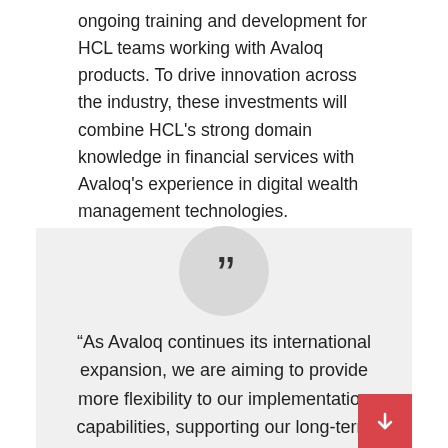ongoing training and development for HCL teams working with Avaloq products. To drive innovation across the industry, these investments will combine HCL's strong domain knowledge in financial services with Avaloq's experience in digital wealth management technologies.
“As Avaloq continues its international expansion, we are aiming to provide more flexibility to our implementation capabilities, supporting our long-term growth. Therefore, we are delighted to expand our existing partnership with HCL to leverage its strong global presence and its domain knowledge in financial services to provide banks and